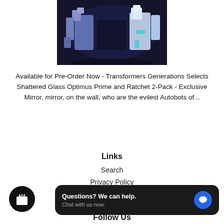[Figure (photo): Dark background image of Transformers robot figures (Shattered Glass Optimus Prime and Ratchet) in blue/white coloring against a dark background.]
Available for Pre-Order Now - Transformers Generations Selects Shattered Glass Optimus Prime and Ratchet 2-Pack - Exclusive Mirror, mirror, on the wall, who are the evilest Autobots of...
Links
Search
Privacy Policy
Refund Policy
Shipping Policy
[Figure (screenshot): Chat widget popup with dark background reading 'Questions? We can help. Chat with us now.' with a blue chat icon button. Also a black circular gift/rewards button on the lower left.]
Follow Us